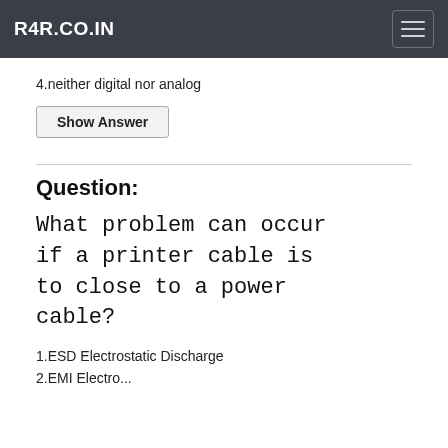R4R.CO.IN
4.neither digital nor analog
Show Answer
Question:
What problem can occur if a printer cable is to close to a power cable?
1.ESD Electrostatic Discharge
2.EMI Electromagnetic interference